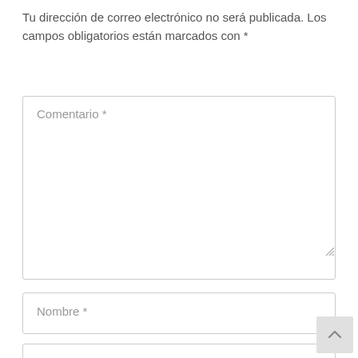Tu dirección de correo electrónico no será publicada. Los campos obligatorios están marcados con *
[Figure (screenshot): Comment form textarea labeled 'Comentario *' with resize handle]
[Figure (screenshot): Text input field labeled 'Nombre *']
[Figure (screenshot): Text input field labeled 'Correo electrónico *']